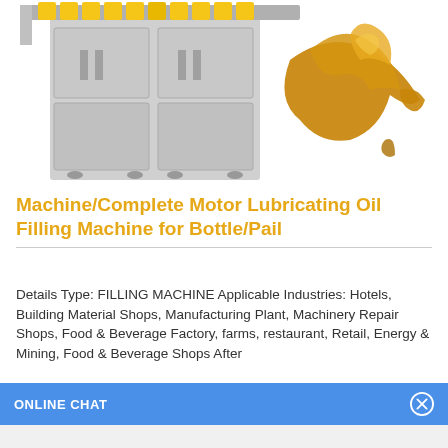[Figure (photo): Industrial motor lubricating oil filling machine — grey cabinet with yellow bottle caps at top and golden oil splash on the right side]
Machine/Complete Motor Lubricating Oil Filling Machine for Bottle/Pail
Details Type: FILLING MACHINE Applicable Industries: Hotels, Building Material Shops, Manufacturing Plant, Machinery Repair Shops, Food & Beverage Factory, farms, restaurant, Retail, Energy & Mining, Food & Beverage Shops After
ONLINE CHAT